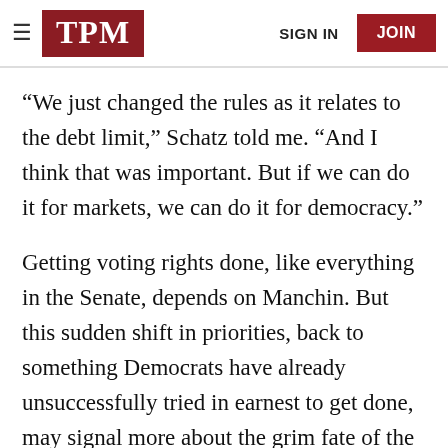TPM | SIGN IN | JOIN
“We just changed the rules as it relates to the debt limit,” Schatz told me. “And I think that was important. But if we can do it for markets, we can do it for democracy.”
Getting voting rights done, like everything in the Senate, depends on Manchin. But this sudden shift in priorities, back to something Democrats have already unsuccessfully tried in earnest to get done, may signal more about the grim fate of the reconciliation bill than it does new hope on the voting rights and filibuster front.